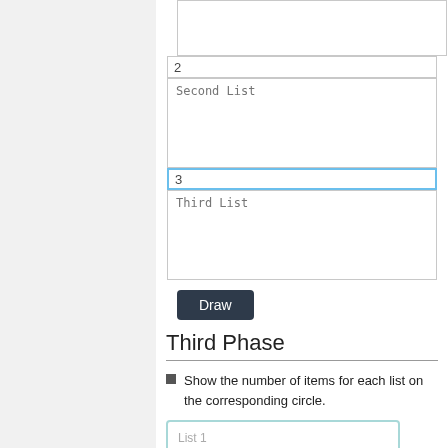[Figure (screenshot): Form input field showing number '2']
[Figure (screenshot): Textarea with placeholder 'Second List']
[Figure (screenshot): Active/focused input field showing number '3' with blue border]
[Figure (screenshot): Textarea with placeholder 'Third List']
[Figure (screenshot): Dark 'Draw' button]
Third Phase
Show the number of items for each list on the corresponding circle.
[Figure (screenshot): Input box labeled 'List 1' with teal border]